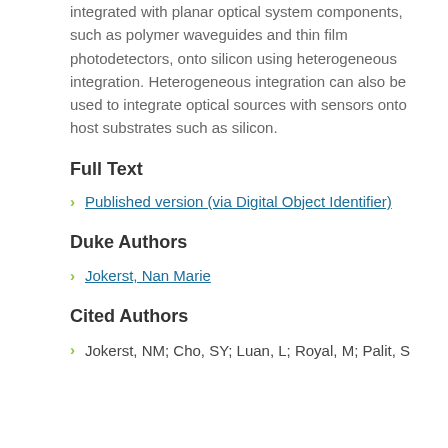integrated with planar optical system components, such as polymer waveguides and thin film photodetectors, onto silicon using heterogeneous integration. Heterogeneous integration can also be used to integrate optical sources with sensors onto host substrates such as silicon.
Full Text
Published version (via Digital Object Identifier)
Duke Authors
Jokerst, Nan Marie
Cited Authors
Jokerst, NM; Cho, SY; Luan, L; Royal, M; Palit, S